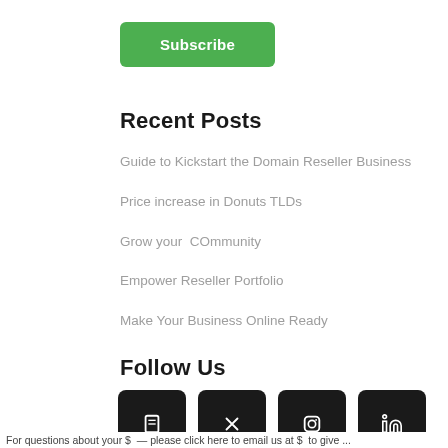Subscribe
Recent Posts
Guide to Kickstart the Domain Reseller Business
Price increase in Donuts TLDs
Grow your  COmmunity
Empower Reseller Portfolio
Make Your Business Online Ready
Follow Us
[Figure (other): Four black square social media icon buttons]
For questions about your $  — please click here to email us at $  to give ...